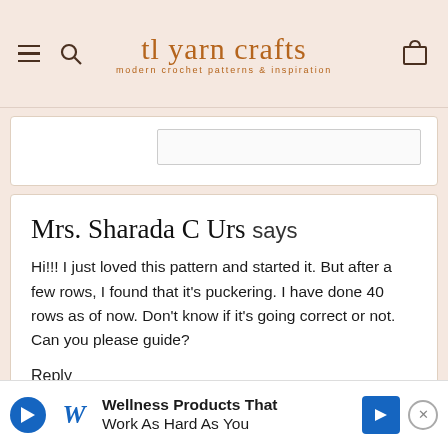tl yarn crafts — modern crochet patterns & inspiration
Mrs. Sharada C Urs says
Hi!!! I just loved this pattern and started it. But after a few rows, I found that it's puckering. I have done 40 rows as of now. Don't know if it's going correct or not. Can you please guide?
Reply
Wellness Products That Work As Hard As You